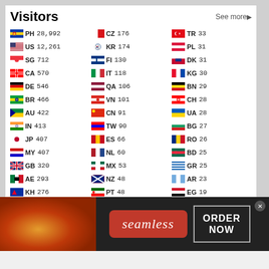Visitors
| Flag | CC | Count | Flag | CC | Count | Flag | CC | Count |
| --- | --- | --- | --- | --- | --- | --- | --- | --- |
| PH | PH | 28,992 | CZ | CZ | 176 | TR | TR | 33 |
| US | US | 12,261 | KR | KR | 174 | PL | PL | 31 |
| SG | SG | 712 | FI | FI | 130 | DK | DK | 31 |
| CA | CA | 570 | IT | IT | 118 | KG | KG | 30 |
| DE | DE | 546 | QA | QA | 106 | BN | BN | 29 |
| BR | BR | 466 | VN | VN | 101 | CH | CH | 28 |
| AU | AU | 422 | CN | CN | 91 | UA | UA | 28 |
| IN | IN | 413 | TW | TW | 90 | BG | BG | 27 |
| JP | JP | 407 | ES | ES | 66 | RO | RO | 26 |
| MY | MY | 407 | NL | NL | 60 | BD | BD | 25 |
| GB | GB | 320 | MX | MX | 53 | GR | GR | 25 |
| AE | AE | 293 | NZ | NZ | 48 | AR | AR | 23 |
| KH | KH | 276 | PT | PT | 48 | EG | EG | 19 |
| RU | RU | 256 | IE | IE | 47 | BH | BH | 19 |
| TH | TH | 242 | NO | NO | 47 | OM | OM | 17 |
| HK | HK | 222 | BE | BE | 40 | CL | CL | 16 |
| SA | SA | 212 | ZA | ZA | 38 | AT | AT | 15 |
| PK | PK | 209 | IL | IL | 36 | DZ | DZ | 15 |
| ID | ID | 201 | SE | SE | 36 | IR | IR | 13 |
| FR | FR | 194 | KW | KW | 34 | PE | PE | 13 |
Pageviews: 91,661
[Figure (infographic): Seamless food delivery advertisement banner with pizza image, Seamless logo, and ORDER NOW button]